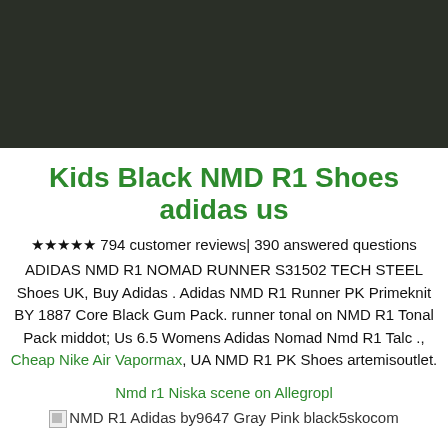[Figure (photo): Dark olive/charcoal background banner image at top of page]
Kids Black NMD R1 Shoes adidas us
★★★★★ 794 customer reviews| 390 answered questions ADIDAS NMD R1 NOMAD RUNNER S31502 TECH STEEL Shoes UK, Buy Adidas . Adidas NMD R1 Runner PK Primeknit BY 1887 Core Black Gum Pack. runner tonal on NMD R1 Tonal Pack middot; Us 6.5 Womens Adidas Nomad Nmd R1 Talc ., Cheap Nike Air Vapormax, UA NMD R1 PK Shoes artemisoutlet.
Nmd r1 Niska scene on Allegropl
NMD R1 Adidas by9647 Gray Pink black5skocom